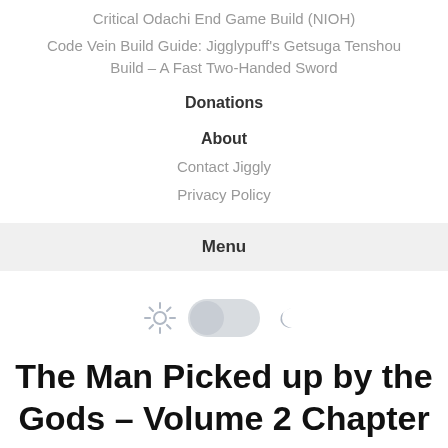Critical Odachi End Game Build (NIOH)
Code Vein Build Guide: Jigglypuff's Getsuga Tenshou Build – A Fast Two-Handed Sword
Donations
About
Contact Jiggly
Privacy Policy
Menu
[Figure (illustration): Light/dark mode toggle UI element with sun icon on the left, a toggle switch in the middle (in light/off position), and a moon icon on the right]
The Man Picked up by the Gods – Volume 2 Chapter 7